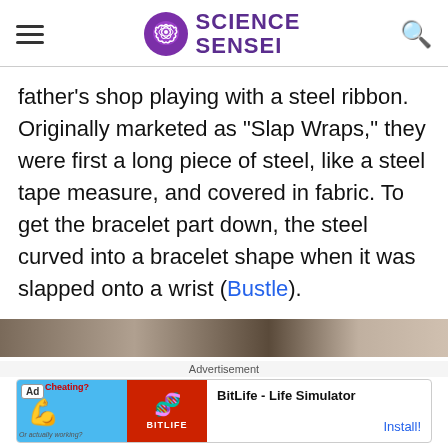SCIENCE SENSEI
father’s shop playing with a steel ribbon. Originally marketed as “Slap Wraps,” they were first a long piece of steel, like a steel tape measure, and covered in fabric. To get the bracelet part down, the steel curved into a bracelet shape when it was slapped onto a wrist (Bustle).
[Figure (photo): Partially visible photograph at the bottom of the article, showing people or objects, cropped.]
Advertisement
[Figure (screenshot): Advertisement banner for BitLife - Life Simulator app with Ad badge, muscle emoji graphic on blue background, red section with BitLife logo, and Install! button.]